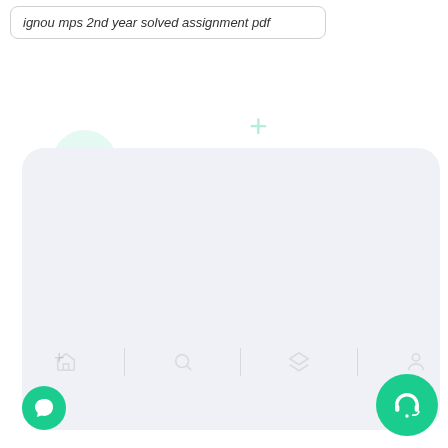ignou mps 2nd year solved assignment pdf
[Figure (screenshot): Mobile app UI screenshot showing a search result item for 'ignou mps 2nd year solved assignment pdf' in a rounded rectangle card, with decorative teal circle and plus symbols, a large light grey card panel, bottom navigation bar icons, a green chat button bottom-left, and a green headset/support button bottom-right.]